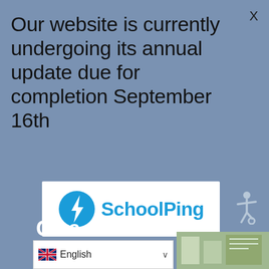X
Our website is currently undergoing its annual update due for completion September 16th
[Figure (logo): SchoolPing logo — blue circular lightning bolt icon with 'SchoolPing' text in blue on white background]
[Figure (other): Wheelchair accessibility icon in white on blue background]
Gallery
[Figure (photo): UK flag and English language selector dropdown]
[Figure (photo): Photo thumbnail showing children in classroom]
[Figure (photo): Photo thumbnail showing children at school]